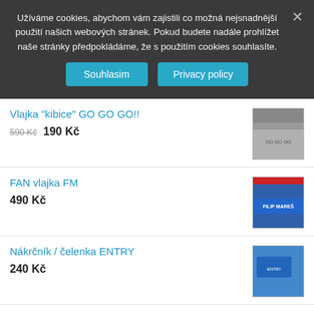Užíváme cookies, abychom vám zajistili co možná nejsnadnější použití našich webových stránek. Pokud budete nadále prohlížet naše stránky předpokládáme, že s použitím cookies souhlasíte.
Souhlasim  Privacy policy
Vlajka "kibice" GO GO GO!!
590 Kč  190 Kč
[Figure (photo): Product image of Vlajka kibice GO GO GO flag]
FAN vlajka FM
490 Kč
[Figure (photo): Product image of FAN vlajka FM]
Nákrčník / čelenka ENTRY
240 Kč
[Figure (photo): Product image of Nákrčník / čelenka ENTRY]
Pletený kulich FM